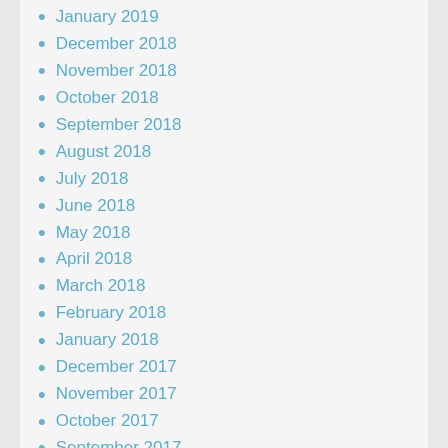January 2019
December 2018
November 2018
October 2018
September 2018
August 2018
July 2018
June 2018
May 2018
April 2018
March 2018
February 2018
January 2018
December 2017
November 2017
October 2017
September 2017
August 2017
July 2017